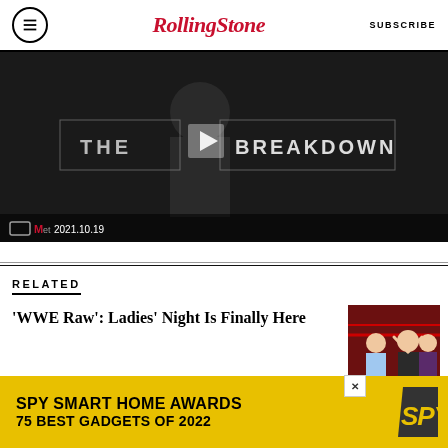Rolling Stone — SUBSCRIBE
[Figure (screenshot): Video thumbnail showing 'THE BREAKDOWN' text with play button, dark background with person, dated 2021.10.19]
RELATED
'WWE Raw': Ladies' Night Is Finally Here
[Figure (photo): WWE Raw wrestling match photo showing women wrestlers in the ring]
[Figure (other): SPY Smart Home Awards advertisement — 75 Best Gadgets of 2022]